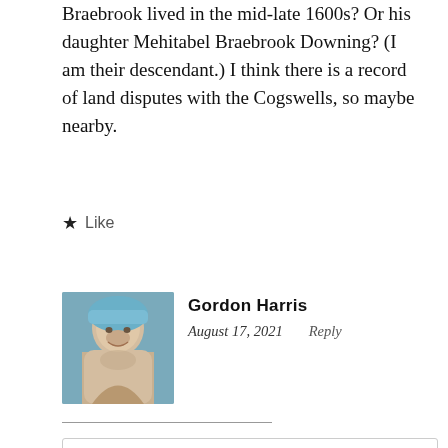Braebrook lived in the mid-late 1600s? Or his daughter Mehitabel Braebrook Downing? (I am their descendant.) I think there is a record of land disputes with the Cogswells, so maybe nearby.
★ Like
Gordon Harris
August 17, 2021    Reply
Mehitabel Braybrooke, in the Shadow of Salem